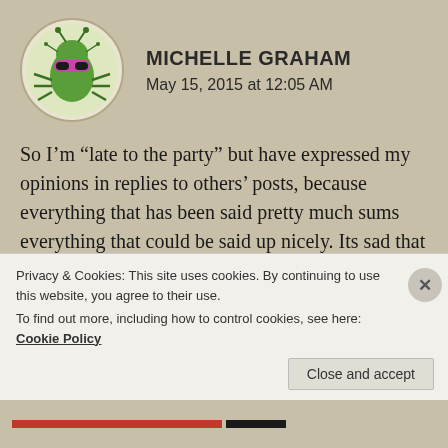[Figure (illustration): Round avatar with cartoon green insect/bug character with pink goggles on a light background]
MICHELLE GRAHAM
May 15, 2015 at 12:05 AM
So I’m “late to the party” but have expressed my opinions in replies to others’ posts, because everything that has been said pretty much sums everything that could be said up nicely. Its sad that this happened, because both faires are wonderful, the casts at both faires are wonderful, and patrons ultimately have the right to express their opinions about shows freely. Mistakes were made on both
Privacy & Cookies: This site uses cookies. By continuing to use this website, you agree to their use.
To find out more, including how to control cookies, see here: Cookie Policy
Close and accept